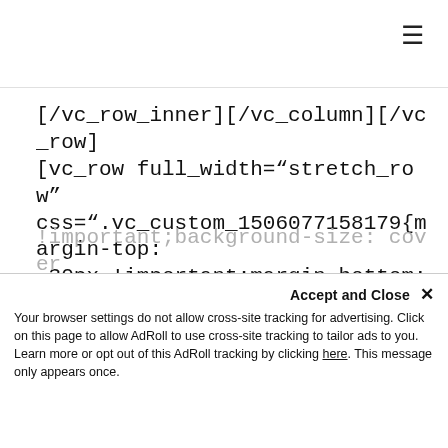≡
[/vc_row_inner][/vc_column][/vc_row]
[vc_row full_width="stretch_row" css=".vc_custom_1506077158179{margin-top: -30px !important;margin-bottom: 0px !important;padding-top: 100px !important;padding-bottom: 100px !important;background-image: url(https://demo.themeum.com/wordpress/eventum/wp-content/uploads/2015/09/home-sponsors-bg.jpg?id=152) !important;background-position: center !important;background-repeat: no-repeat
!important;background-size: cover !important;background-position: center !important;
Accept and Close ✕
Your browser settings do not allow cross-site tracking for advertising. Click on this page to allow AdRoll to use cross-site tracking to tailor ads to you. Learn more or opt out of this AdRoll tracking by clicking here. This message only appears once.